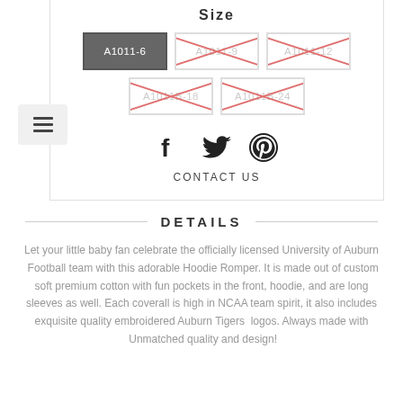Size
[Figure (other): Size selection buttons: A1011-6 (selected/active, dark), A1011-9 (crossed out, unavailable), A1011-12 (crossed out, unavailable), A1011B-18 (crossed out, unavailable), A1011B-24 (crossed out, unavailable)]
[Figure (other): Social sharing icons: Facebook (f), Twitter (bird), Pinterest (P)]
CONTACT US
DETAILS
Let your little baby fan celebrate the officially licensed University of Auburn  Football team with this adorable Hoodie Romper. It is made out of custom soft premium cotton with fun pockets in the front, hoodie, and are long sleeves as well. Each coverall is high in NCAA team spirit, it also includes exquisite quality embroidered Auburn Tigers  logos. Always made with  Unmatched quality and design!